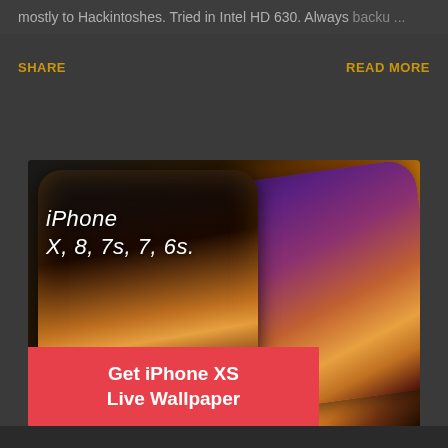mostly to Hackintoshes. Tried in Intel HD 630. Always backu... ...
SHARE    READ MORE
[Figure (photo): iPhone XS promotional image showing two iPhones with colorful wallpaper, overlaid with text 'iPhone X, 8, 7s, 7, 6s.' and a red banner reading 'Get iPhone XS Live Wallpaper']